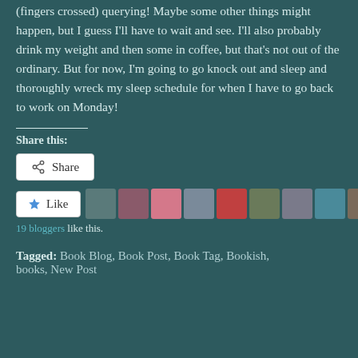(fingers crossed) querying! Maybe some other things might happen, but I guess I'll have to wait and see. I'll also probably drink my weight and then some in coffee, but that's not out of the ordinary. But for now, I'm going to go knock out and sleep and thoroughly wreck my sleep schedule for when I have to go back to work on Monday!
Share this:
[Figure (screenshot): Share button with share icon]
[Figure (screenshot): Like button with star icon and 9 blogger avatar thumbnails]
19 bloggers like this.
Tagged: Book Blog, Book Post, Book Tag, Bookish, books, New Post